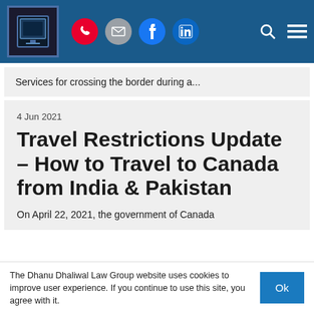[Figure (screenshot): Website navigation bar with logo, phone, email, Facebook, LinkedIn icons, search and menu buttons on blue background]
Services for crossing the border during a...
4 Jun 2021
Travel Restrictions Update – How to Travel to Canada from India & Pakistan
On April 22, 2021, the government of Canada
The Dhanu Dhaliwal Law Group website uses cookies to improve user experience. If you continue to use this site, you agree with it.